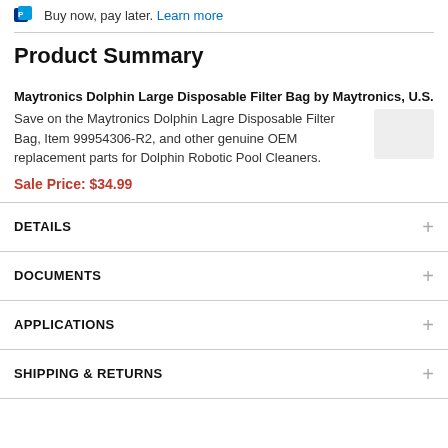Buy now, pay later. Learn more
Product Summary
Maytronics Dolphin Large Disposable Filter Bag by Maytronics, U.S.
Save on the Maytronics Dolphin Lagre Disposable Filter Bag, Item 99954306-R2, and other genuine OEM replacement parts for Dolphin Robotic Pool Cleaners.
Sale Price: $34.99
DETAILS
DOCUMENTS
APPLICATIONS
SHIPPING & RETURNS